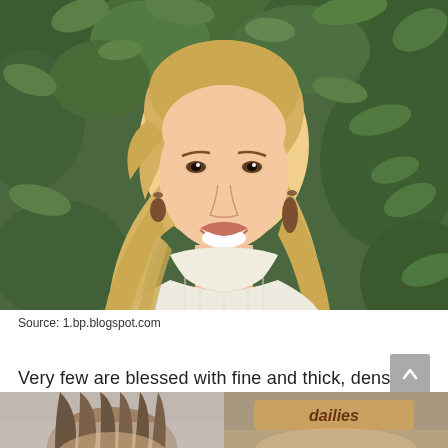[Figure (photo): A young blonde woman smiling, wearing a cream turtleneck sweater, with long wavy blonde hair pulled back. Background is green leafy bushes/shrubs. She is wearing dangling earrings.]
Source: 1.bp.blogspot.com
Very few are blessed with fine and thick, dense hair.
[Figure (photo): Two partially visible photos at the bottom of the page showing hair styles.]